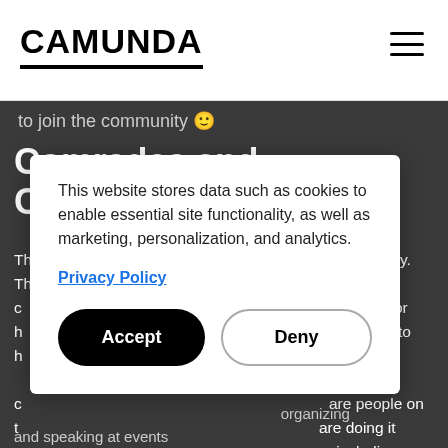CAMUNDA
to join the community 🙂
Comrades and Contributors
The Camunda Forums are really a hub for the community. There we announce releases, events and new code contributions. People looking for help can find it there. We optimize to have a great forum with heterogeneous contributors. There are people on the forum who are doing it open source and including:
This website stores data such as cookies to enable essential site functionality, as well as marketing, personalization, and analytics.
Privacy Policy
Accept
Deny
organizing and speaking at events